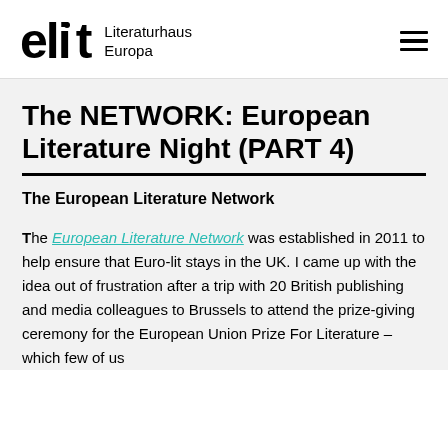elit Literaturhaus Europa
The NETWORK: European Literature Night (PART 4)
The European Literature Network
The European Literature Network was established in 2011 to help ensure that Euro-lit stays in the UK. I came up with the idea out of frustration after a trip with 20 British publishing and media colleagues to Brussels to attend the prize-giving ceremony for the European Union Prize For Literature – which few of us